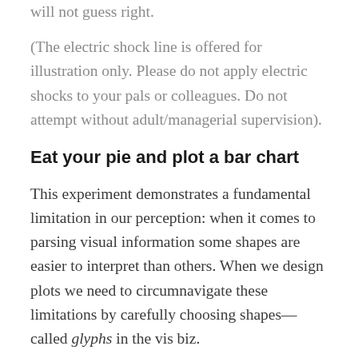will not guess right.
(The electric shock line is offered for illustration only. Please do not apply electric shocks to your pals or colleagues. Do not attempt without adult/managerial supervision).
Eat your pie and plot a bar chart
This experiment demonstrates a fundamental limitation in our perception: when it comes to parsing visual information some shapes are easier to interpret than others. When we design plots we need to circumnavigate these limitations by carefully choosing shapes—called glyphs in the vis biz.
A pie chart may look as cute as a button but ultimately its shape works against the message it